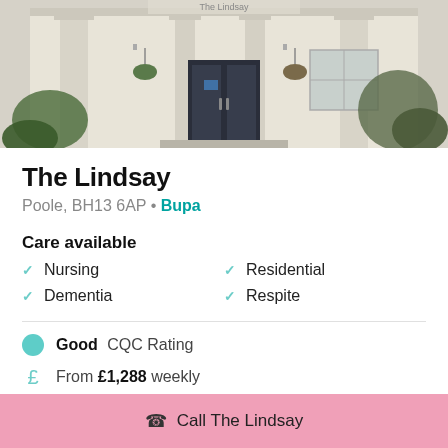[Figure (photo): Exterior photo of The Lindsay care home showing a classical building facade with columns, dark double doors, hanging baskets, and windows with climbing plants]
The Lindsay
Poole, BH13 6AP • Bupa
Care available
Nursing
Residential
Dementia
Respite
Good CQC Rating
From £1,288 weekly
Call The Lindsay